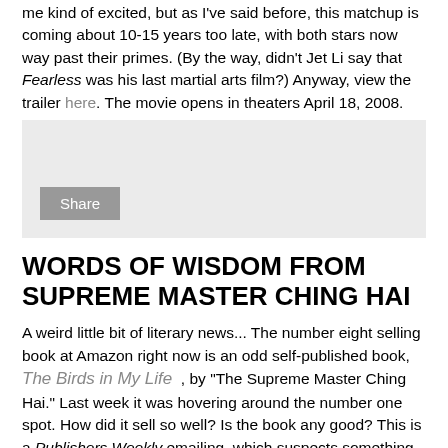me kind of excited, but as I've said before, this matchup is coming about 10-15 years too late, with both stars now way past their primes. (By the way, didn't Jet Li say that Fearless was his last martial arts film?) Anyway, view the trailer here. The movie opens in theaters April 18, 2008.
[Figure (screenshot): Gray social share widget box with a Share button in the lower left]
WORDS OF WISDOM FROM SUPREME MASTER CHING HAI
A weird little bit of literary news... The number eight selling book at Amazon right now is an odd self-published book, The Birds in My Life , by "The Supreme Master Ching Hai." Last week it was hovering around the number one spot. How did it sell so well? Is the book any good? This is a Publishers Weekly emailing, which suspects something fishy